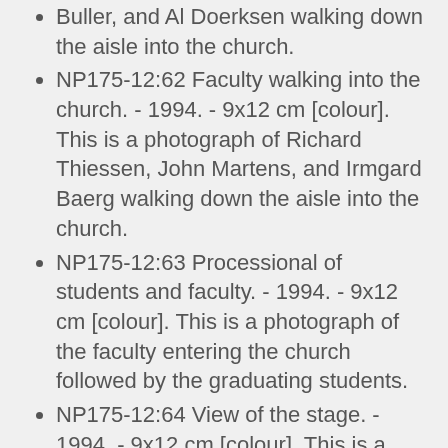Buller, and Al Doerksen walking down the aisle into the church.
NP175-12:62 Faculty walking into the church. - 1994. - 9x12 cm [colour]. This is a photograph of Richard Thiessen, John Martens, and Irmgard Baerg walking down the aisle into the church.
NP175-12:63 Processional of students and faculty. - 1994. - 9x12 cm [colour]. This is a photograph of the faculty entering the church followed by the graduating students.
NP175-12:64 View of the stage. - 1994. - 9x12 cm [colour]. This is a photo taken from the balcony that shows the graduating students in the pews and the faculty on stage.
NP175-12:65 Andrew Thiessen speaking. - 1994. - 9x12 cm [colour]. This is a far away shot of Andrew